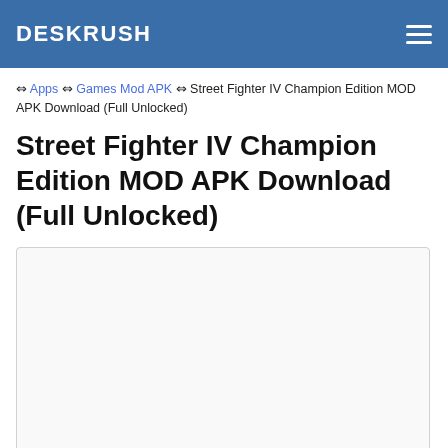DESKRUSH
⇔ Apps ⇔ Games Mod APK ⇔ Street Fighter IV Champion Edition MOD APK Download (Full Unlocked)
Street Fighter IV Champion Edition MOD APK Download (Full Unlocked)
[Figure (other): Empty white image placeholder box with light border]